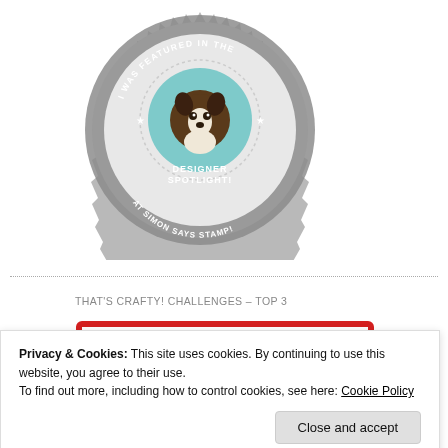[Figure (logo): Circular badge with Boston Terrier dog illustration, text 'I WAS FEATURED IN THE DESIGNER SPOTLIGHT! AT SIMON SAYS STAMP!' in grey and teal colors]
THAT'S CRAFTY! CHALLENGES – TOP 3
[Figure (logo): Badge with hand-drawn red border frame, text 'I MadeTop3 THAT'S CRAFTY!' in colorful mixed fonts]
Privacy & Cookies: This site uses cookies. By continuing to use this website, you agree to their use.
To find out more, including how to control cookies, see here: Cookie Policy
Close and accept